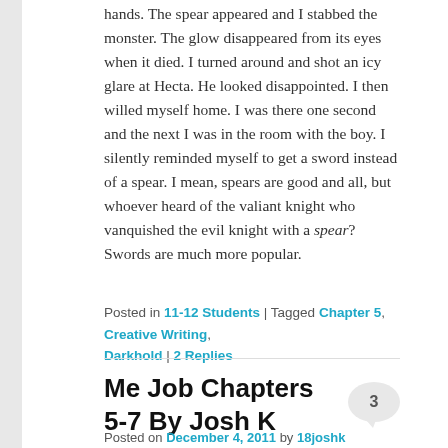hands. The spear appeared and I stabbed the monster. The glow disappeared from its eyes when it died. I turned around and shot an icy glare at Hecta. He looked disappointed. I then willed myself home. I was there one second and the next I was in the room with the boy. I silently reminded myself to get a sword instead of a spear. I mean, spears are good and all, but whoever heard of the valiant knight who vanquished the evil knight with a spear? Swords are much more popular.
Posted in 11-12 Students | Tagged Chapter 5, Creative Writing, Darkhold | 2 Replies
Me Job Chapters 5-7 By Josh K
Posted on December 4, 2011 by 18joshk